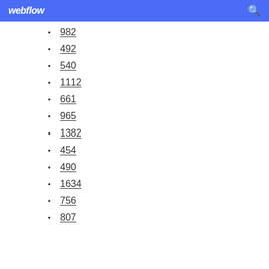webflow
982
492
540
1112
661
965
1382
454
490
1634
756
807